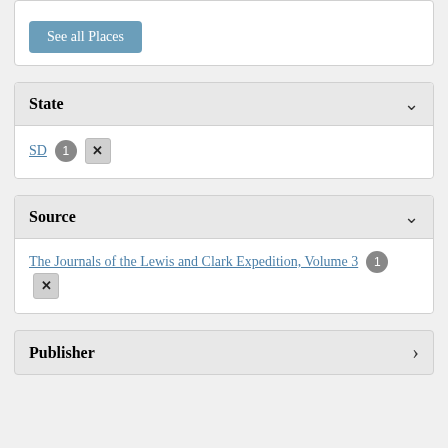[Figure (screenshot): Top partial panel with 'See all Places' blue button]
State
SD 1 ×
Source
The Journals of the Lewis and Clark Expedition, Volume 3 1 ×
Publisher